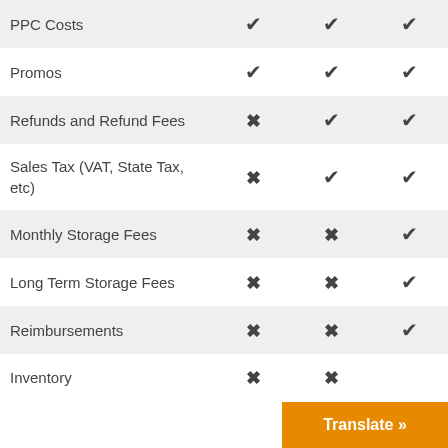| Feature | Plan 1 | Plan 2 | Plan 3 |
| --- | --- | --- | --- |
| PPC Costs | ✓ | ✓ | ✓ |
| Promos | ✓ | ✓ | ✓ |
| Refunds and Refund Fees | ✗ | ✓ | ✓ |
| Sales Tax (VAT, State Tax, etc) | ✗ | ✓ | ✓ |
| Monthly Storage Fees | ✗ | ✗ | ✓ |
| Long Term Storage Fees | ✗ | ✗ | ✓ |
| Reimbursements | ✗ | ✗ | ✓ |
| Inventory | ✗ | ✗ |  |